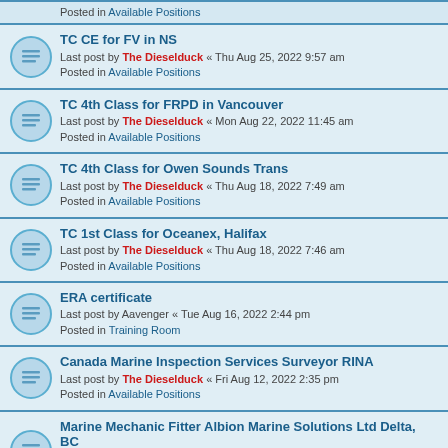Posted in Available Positions
TC CE for FV in NS
Last post by The Dieselduck « Thu Aug 25, 2022 9:57 am
Posted in Available Positions
TC 4th Class for FRPD in Vancouver
Last post by The Dieselduck « Mon Aug 22, 2022 11:45 am
Posted in Available Positions
TC 4th Class for Owen Sounds Trans
Last post by The Dieselduck « Thu Aug 18, 2022 7:49 am
Posted in Available Positions
TC 1st Class for Oceanex, Halifax
Last post by The Dieselduck « Thu Aug 18, 2022 7:46 am
Posted in Available Positions
ERA certificate
Last post by Aavenger « Tue Aug 16, 2022 2:44 pm
Posted in Training Room
Canada Marine Inspection Services Surveyor RINA
Last post by The Dieselduck « Fri Aug 12, 2022 2:35 pm
Posted in Available Positions
Marine Mechanic Fitter Albion Marine Solutions Ltd Delta, BC
Last post by The Dieselduck « Tue Aug 09, 2022 8:15 am
Posted in Available Positions
Marine Service Engineer, 4-Stroke (Remote, Hybrid) Wärtsilä Canada
Last post by The Dieselduck « Mon Aug 08, 2022 5:00 pm